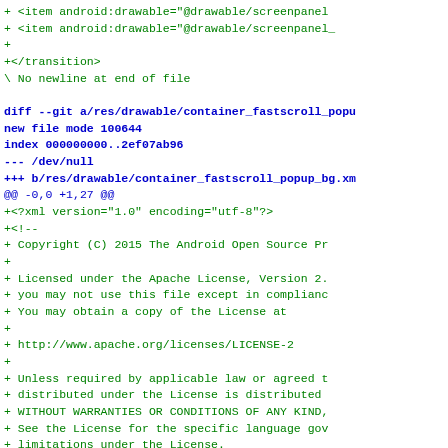diff --git snippet showing container_fastscroll_popup_bg.xml added with Apache 2.0 license header